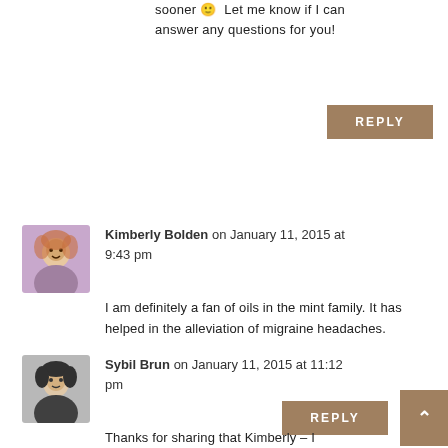sooner 🙂  Let me know if I can answer any questions for you!
REPLY
Kimberly Bolden on January 11, 2015 at 9:43 pm
I am definitely a fan of oils in the mint family. It has helped in the alleviation of migraine headaches.
REPLY
Sybil Brun on January 11, 2015 at 11:12 pm
Thanks for sharing that Kimberly – I have a good friend who suffers from